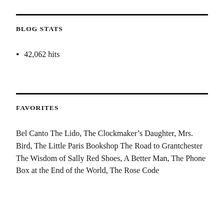BLOG STATS
42,062 hits
FAVORITES
Bel Canto The Lido, The Clockmaker’s Daughter, Mrs. Bird, The Little Paris Bookshop The Road to Grantchester The Wisdom of Sally Red Shoes, A Better Man, The Phone Box at the End of the World, The Rose Code